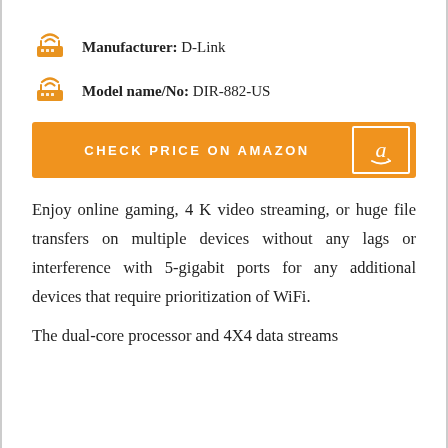Manufacturer: D-Link
Model name/No: DIR-882-US
CHECK PRICE ON AMAZON
Enjoy online gaming, 4 K video streaming, or huge file transfers on multiple devices without any lags or interference with 5-gigabit ports for any additional devices that require prioritization of WiFi.
The dual-core processor and 4X4 data streams